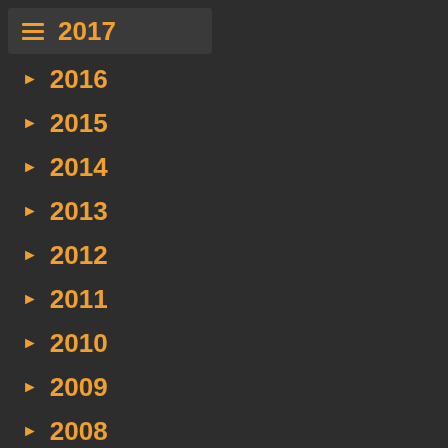2017
► 2016
► 2015
► 2014
► 2013
► 2012
► 2011
► 2010
► 2009
► 2008
► 2007